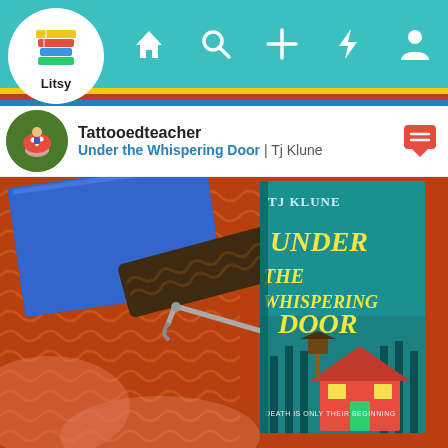[Figure (screenshot): Litsy app navigation bar with teal background showing home, search, add, activity, and profile icons]
Tattooedteacher
Under the Whispering Door | Tj Klune
[Figure (photo): Photo of orange and brown crocheted fabric with a crochet hook, a blue binder in the background, and the book 'Under the Whispering Door' by TJ Klune propped up. Book subtitle reads DEATH IS ONLY THEIR BEGINNING.]